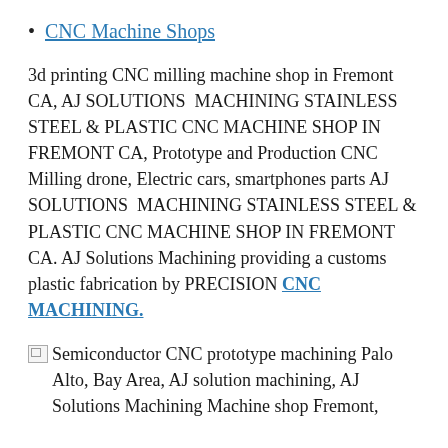CNC Machine Shops
3d printing CNC milling machine shop in Fremont CA, AJ SOLUTIONS  MACHINING STAINLESS STEEL & PLASTIC CNC MACHINE SHOP IN FREMONT CA, Prototype and Production CNC Milling drone, Electric cars, smartphones parts AJ SOLUTIONS  MACHINING STAINLESS STEEL & PLASTIC CNC MACHINE SHOP IN FREMONT CA. AJ Solutions Machining providing a customs plastic fabrication by PRECISION CNC MACHINING.
Semiconductor CNC prototype machining Palo Alto, Bay Area, AJ solution machining, AJ Solutions Machining Machine shop Fremont,